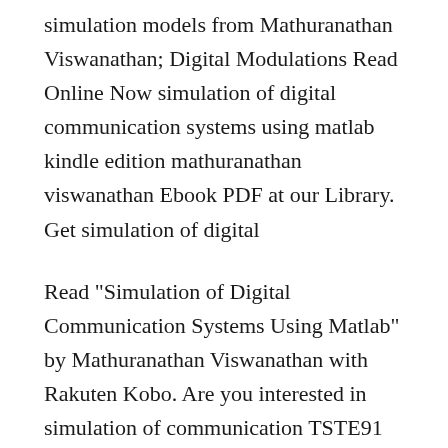simulation models from Mathuranathan Viswanathan; Digital Modulations Read Online Now simulation of digital communication systems using matlab kindle edition mathuranathan viswanathan Ebook PDF at our Library. Get simulation of digital
Read "Simulation of Digital Communication Systems Using Matlab" by Mathuranathan Viswanathan with Rakuten Kobo. Are you interested in simulation of communication TSTE91 System Design Communications System Simulation Using Simulink transmission system in the Matlab environment. In the case of digital communication,